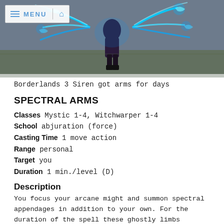[Figure (photo): Screenshot from Borderlands 3 showing a Siren character floating with glowing blue spectral arms extended, with a menu bar overlay in the top-left corner.]
Borderlands 3 Siren got arms for days
SPECTRAL ARMS
Classes Mystic 1-4, Witchwarper 1-4
School abjuration (force)
Casting Time 1 move action
Range personal
Target you
Duration 1 min./level (D)
Description
You focus your arcane might and summon spectral appendages in addition to your own. For the duration of the spell these ghostly limbs function as extra sets